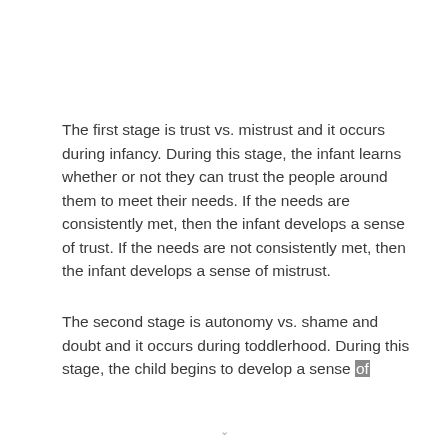The first stage is trust vs. mistrust and it occurs during infancy. During this stage, the infant learns whether or not they can trust the people around them to meet their needs. If the needs are consistently met, then the infant develops a sense of trust. If the needs are not consistently met, then the infant develops a sense of mistrust.
The second stage is autonomy vs. shame and doubt and it occurs during toddlerhood. During this stage, the child begins to develop a sense of